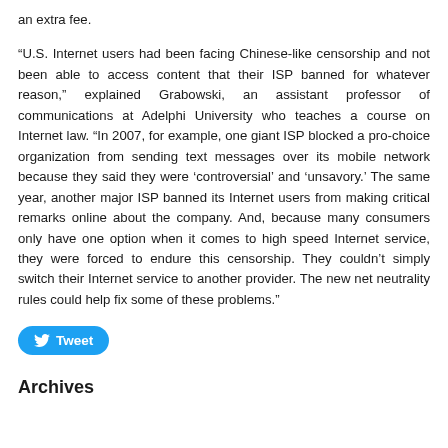an extra fee.
“U.S. Internet users had been facing Chinese-like censorship and not been able to access content that their ISP banned for whatever reason,” explained Grabowski, an assistant professor of communications at Adelphi University who teaches a course on Internet law. “In 2007, for example, one giant ISP blocked a pro-choice organization from sending text messages over its mobile network because they said they were ‘controversial’ and ‘unsavory.’ The same year, another major ISP banned its Internet users from making critical remarks online about the company. And, because many consumers only have one option when it comes to high speed Internet service, they were forced to endure this censorship. They couldn’t simply switch their Internet service to another provider. The new net neutrality rules could help fix some of these problems.”
[Figure (other): Twitter Tweet button (blue rounded button with bird icon and 'Tweet' text)]
Archives